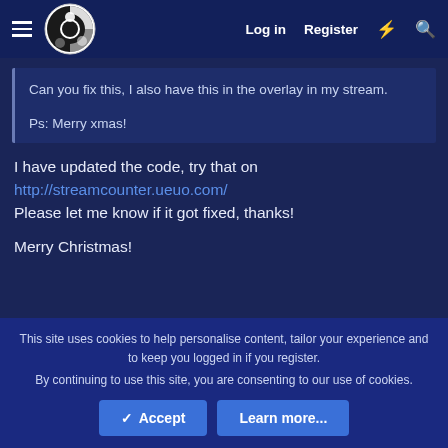Log in  Register
Can you fix this, I also have this in the overlay in my stream.

Ps: Merry xmas!
I have updated the code, try that on
http://streamcounter.ueuo.com/
Please let me know if it got fixed, thanks!

Merry Christmas!
This site uses cookies to help personalise content, tailor your experience and to keep you logged in if you register. By continuing to use this site, you are consenting to our use of cookies.